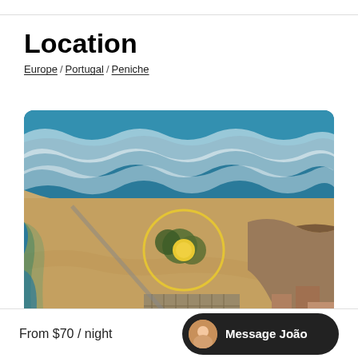Location
Europe / Portugal / Peniche
[Figure (map): Aerial satellite map view of Peniche, Portugal coastal area showing beach, ocean waves, and a yellow circular location pin marker in the center of the image.]
From $70 / night
Message João